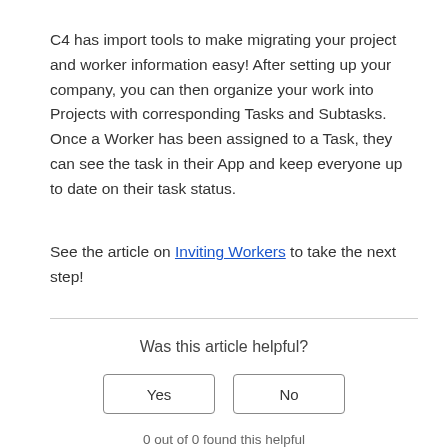C4 has import tools to make migrating your project and worker information easy! After setting up your company, you can then organize your work into Projects with corresponding Tasks and Subtasks. Once a Worker has been assigned to a Task, they can see the task in their App and keep everyone up to date on their task status.
See the article on Inviting Workers to take the next step!
Was this article helpful?
Yes
No
0 out of 0 found this helpful